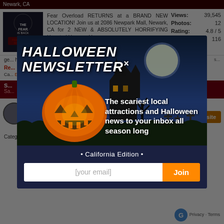Newark, CA
[Figure (screenshot): Fear Overload Scream Park logo image]
Fear Overload RETURNS at a BRAND NEW LOCATION! Join us at 2086 Newpark Mall, Newark, CA for 2 NEW & ABSOLUTELY HORRIFYING Haunted Houses. You...
Views: 39,545
Photos: 12
Rating: 4.8 / 5
Reviews: 116
ge... ha... an... ca...
Re...
Categories: Events
[Figure (infographic): Halloween Newsletter popup modal with jack-o-lantern, night cemetery scene, title 'HALLOWEEN NEWSLETTER', subtitle 'The scariest local attractions and Halloween news to your inbox all season long', California Edition, email signup form with Join button]
have earned us recognition as the premier ghost tour in San Diego, presenting a tour in the Gaslamp District that reveals both history and hauntings in an authentic experience designed for skeptics. Our San... Read More
Categories: Ghost Tours